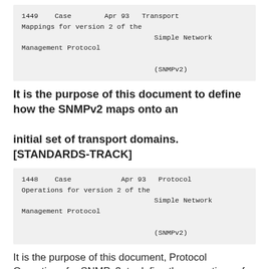1449    Case        Apr 93   Transport Mappings for version 2 of the                                Simple Network Management Protocol
                               (SNMPv2)
It is the purpose of this document to define how the SNMPv2 maps onto an

initial set of transport domains. [STANDARDS-TRACK]
1448    Case        Apr 93   Protocol Operations for version 2 of the                                Simple Network Management Protocol
                               (SNMPv2)
It is the purpose of this document, Protocol Operations for SNMPv2, to define the operations of the protocol with